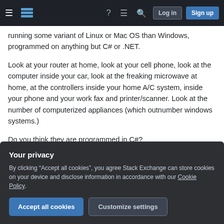Stack Exchange navigation bar with hamburger menu, logo, help, chat, search icons, and Log in / Sign up buttons
running some variant of Linux or Mac OS than Windows, programmed on anything but C# or .NET.
Look at your router at home, look at your cell phone, look at the computer inside your car, look at the freaking microwave at home, at the controllers inside your home A/C system, inside your phone and your work fax and printer/scanner. Look at the number of computerized appliances (which outnumber windows systems.)
Do you think they are programmed in C#?
Your privacy
By clicking “Accept all cookies”, you agree Stack Exchange can store cookies on your device and disclose information in accordance with our Cookie Policy.
programmer in your professional career